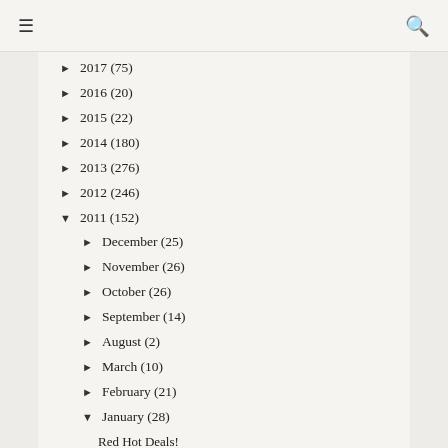☰  [menu icon]  🔍 [search icon]
► 2017 (75)
► 2016 (20)
► 2015 (22)
► 2014 (180)
► 2013 (276)
► 2012 (246)
▼ 2011 (152)
► December (25)
► November (26)
► October (26)
► September (14)
► August (2)
► March (10)
► February (21)
▼ January (28)
Red Hot Deals!
A Very Strange Polish: Borghese Almondine